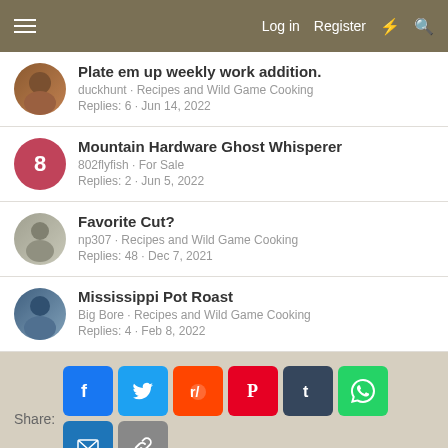Log in  Register
Plate em up weekly work addition. · duckhunt · Recipes and Wild Game Cooking · Replies: 6 · Jun 14, 2022
Mountain Hardware Ghost Whisperer · 802flyfish · For Sale · Replies: 2 · Jun 5, 2022
Favorite Cut? · np307 · Recipes and Wild Game Cooking · Replies: 48 · Dec 7, 2021
Mississippi Pot Roast · Big Bore · Recipes and Wild Game Cooking · Replies: 4 · Feb 8, 2022
Share: